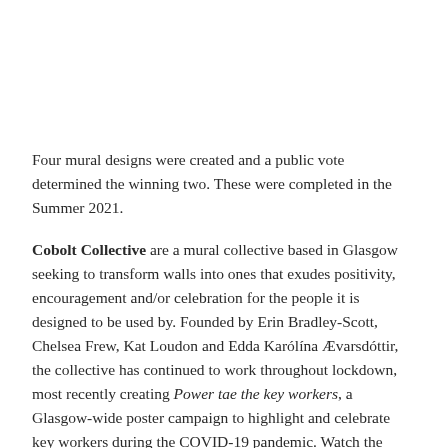Four mural designs were created and a public vote determined the winning two. These were completed in the Summer 2021.
Cobolt Collective are a mural collective based in Glasgow seeking to transform walls into ones that exudes positivity, encouragement and/or celebration for the people it is designed to be used by. Founded by Erin Bradley-Scott, Chelsea Frew, Kat Loudon and Edda Karólína Ævarsdóttir, the collective has continued to work throughout lockdown, most recently creating Power tae the key workers, a Glasgow-wide poster campaign to highlight and celebrate key workers during the COVID-19 pandemic. Watch the action here
Only Da Sea is locted on the Shetland Property Lets/Dowry wall on the Esplanade street-level, adjacent to the Peerie Shop